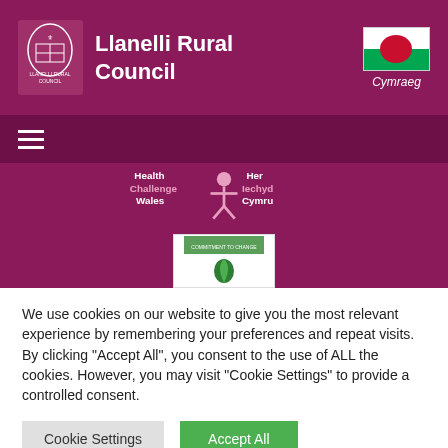[Figure (logo): Llanelli Rural Council header with coat of arms logo, council name in white on maroon background, and Welsh flag with Cymraeg label on the right]
[Figure (logo): Navigation bar with hamburger menu icon on maroon background]
[Figure (logo): Health Challenge Wales / Her Iechyd Cymru logo on maroon hero background with a small white card containing a green leaf/badge below it]
We use cookies on our website to give you the most relevant experience by remembering your preferences and repeat visits. By clicking “Accept All”, you consent to the use of ALL the cookies. However, you may visit "Cookie Settings" to provide a controlled consent.
Cookie Settings
Accept All